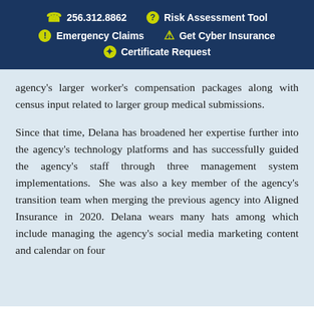📞 256.312.8862   ? Risk Assessment Tool   ! Emergency Claims   ⚠ Get Cyber Insurance   ✦ Certificate Request
agency's larger worker's compensation packages along with census input related to larger group medical submissions.
Since that time, Delana has broadened her expertise further into the agency's technology platforms and has successfully guided the agency's staff through three management system implementations.  She was also a key member of the agency's transition team when merging the previous agency into Aligned Insurance in 2020. Delana wears many hats among which include managing the agency's social media marketing content and calendar on four